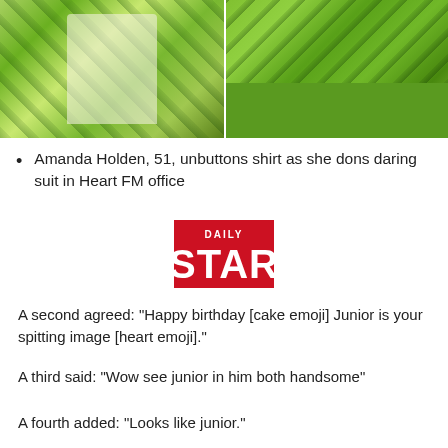[Figure (photo): Two side-by-side photos of a person wearing a bold green floral/leaf print suit. Left photo shows the upper body with an open white shirt underneath; right photo shows the lower body and legs, with green grass visible in the background.]
Amanda Holden, 51, unbuttons shirt as she dons daring suit in Heart FM office
[Figure (logo): Daily Star newspaper logo — red background with 'DAILY' in white small text above large bold white 'STAR' text]
A second agreed: "Happy birthday [cake emoji] Junior is your spitting image [heart emoji]."
A third said: "Wow see junior in him both handsome"
A fourth added: "Looks like junior."